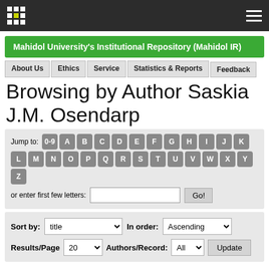Mahidol University's Institutional Repository (Mahidol IR)
Browsing by Author Saskia J.M. Osendarp
Jump to: 0-9 A B C D E F G H I J K L M N O P Q R S T U V W X Y Z or enter first few letters: Go!
Sort by: title In order: Ascending Results/Page 20 Authors/Record: All Update